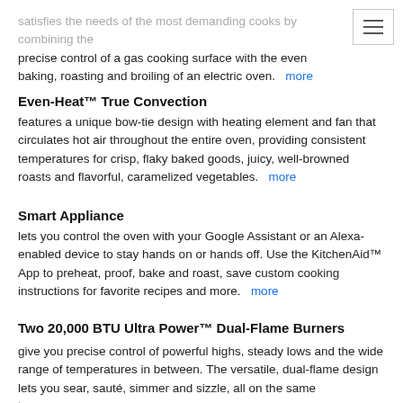[Figure (other): Hamburger menu icon button in top-right corner]
satisfies the needs of the most demanding cooks by combining the precise control of a gas cooking surface with the even baking, roasting and broiling of an electric oven.   more
Even-Heat™ True Convection
features a unique bow-tie design with heating element and fan that circulates hot air throughout the entire oven, providing consistent temperatures for crisp, flaky baked goods, juicy, well-browned roasts and flavorful, caramelized vegetables.   more
Smart Appliance
lets you control the oven with your Google Assistant or an Alexa-enabled device to stay hands on or hands off. Use the KitchenAid™ App to preheat, proof, bake and roast, save custom cooking instructions for favorite recipes and more.   more
Two 20,000 BTU Ultra Power™ Dual-Flame Burners
give you precise control of powerful highs, steady lows and the wide range of temperatures in between. The versatile, dual-flame design lets you sear, sauté, simmer and sizzle, all on the same burner.   more